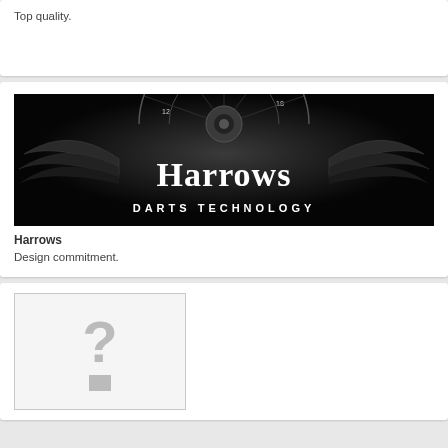Top quality.
[Figure (logo): Harrows Darts Technology logo — white stylized 'Harrows' text with wings motif and dartboard graphic on black background, subtitle 'DARTS TECHNOLOGY']
Harrows
Design commitment.
[Figure (other): Placeholder image with grey question mark and small grey rectangle on white background with light grey border]